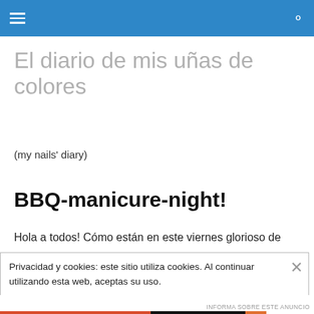El diario de mis uñas de colores — navigation bar with hamburger menu and search icon
El diario de mis uñas de colores
(my nails' diary)
BBQ-manicure-night!
Hola a todos! Cómo están en este viernes glorioso de
Privacidad y cookies: este sitio utiliza cookies. Al continuar utilizando esta web, aceptas su uso.
Para obtener más información, incluido cómo controlar las cookies, consulta aquí: Política de cookies
Cerrar y aceptar